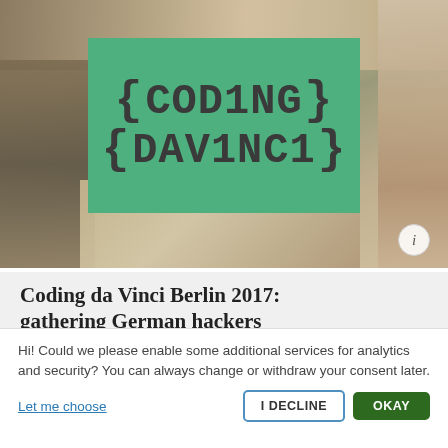[Figure (photo): Collage of people at a hackathon event with a green overlay banner showing the 'CODING DA V1NC1' logo with curly braces, and a small info button in the bottom right corner.]
Coding da Vinci Berlin 2017: gathering German hackers
Hi! Could we please enable some additional services for analytics and security? You can always change or withdraw your consent later.
Let me choose
I DECLINE
OKAY